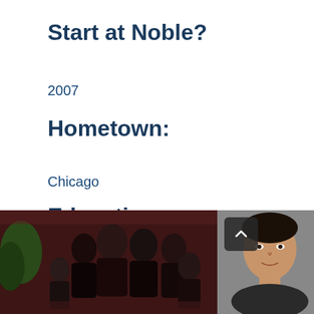Start at Noble?
2007
Hometown:
Chicago
Education:
Grinnell College ( B.A. in Economics)
[Figure (photo): Group family photo with multiple people dressed formally in front of a dark red curtain backdrop]
[Figure (photo): Portrait photo of a young person, appears to be a school or formal photo with gray background, partially obscured by scroll button overlay]